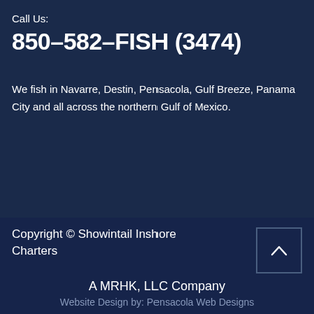Call Us:
850-582-FISH (3474)
We fish in Navarre, Destin, Pensacola, Gulf Breeze, Panama City and all across the northern Gulf of Mexico.
Copyright © Showintail Inshore Charters
A MRHK, LLC Company
Website Design by: Pensacola Web Designs